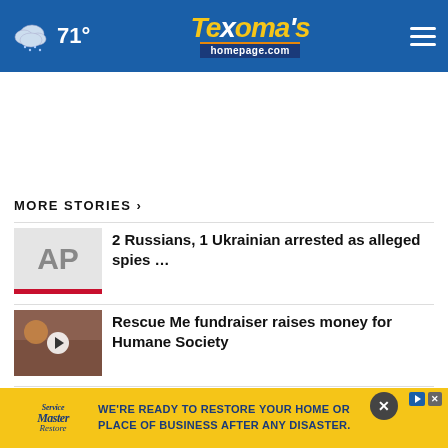71° Texoma's Homepage.com
MORE STORIES ›
2 Russians, 1 Ukrainian arrested as alleged spies …
Rescue Me fundraiser raises money for Humane Society
Nearly 20 animals adopted at Clear the Shelters event
Both farmers markets open in…